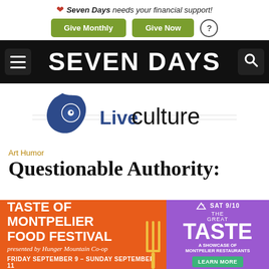❤ Seven Days needs your financial support!
Give Monthly | Give Now | ?
SEVEN DAYS
[Figure (logo): Live Culture logo with blue star-burst icon and text reading 'Live culture']
Art Humor
Questionable Authority:
[Figure (infographic): Advertisement for Taste of Montpelier Food Festival. Orange left panel reads: TASTE OF MONTPELIER FOOD FESTIVAL presented by Hunger Mountain Co-op FRIDAY SEPTEMBER 9 - SUNDAY SEPTEMBER 11. Purple right panel reads: SAT 9/10 THE GREAT TASTE A SHOWCASE OF MONTPELIER RESTAURANTS LEARN MORE]